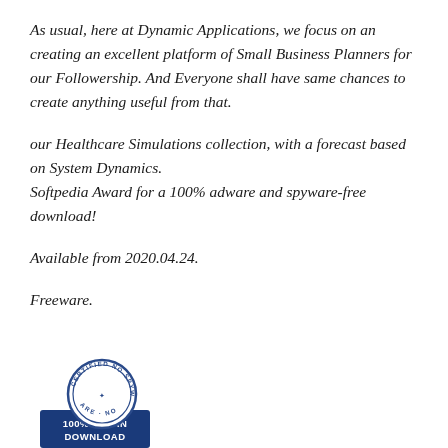As usual, here at Dynamic Applications, we focus on an creating an excellent platform of Small Business Planners for our Followership. And Everyone shall have same chances to create anything useful from that.
our Healthcare Simulations collection, with a forecast based on System Dynamics.
Softpedia Award for a 100% adware and spyware-free download!
Available from 2020.04.24.
Freeware.
[Figure (logo): Softpedia 100% Clean Download badge with circular stamp reading CERTIFIED NO SPYWARE and blue rectangle with 100% CLEAN DOWNLOAD text]